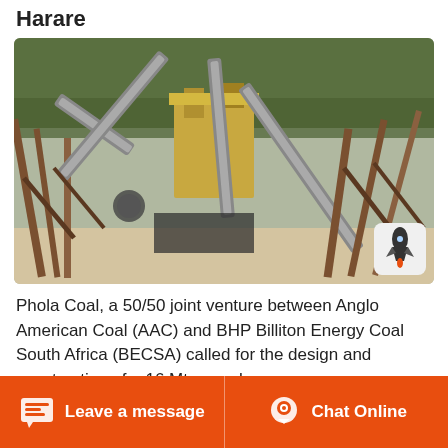Harare
[Figure (photo): Aerial view of a coal processing conveyor belt system with industrial machinery, structural steel supports, and conveyor belts at a mining site. Trees visible in background. A rocket icon badge overlaid bottom-right.]
Phola Coal, a 50/50 joint venture between Anglo American Coal (AAC) and BHP Billiton Energy Coal South Africa (BECSA) called for the design and construction of a 16 Mtpa coal
Leave a message  Chat Online